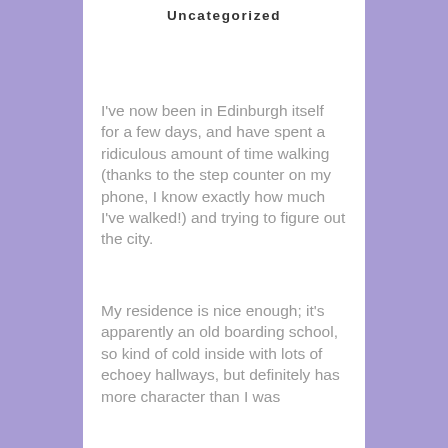Uncategorized
I've now been in Edinburgh itself for a few days, and have spent a ridiculous amount of time walking (thanks to the step counter on my phone, I know exactly how much I've walked!) and trying to figure out the city.
My residence is nice enough; it's apparently an old boarding school, so kind of cold inside with lots of echoey hallways, but definitely has more character than I was